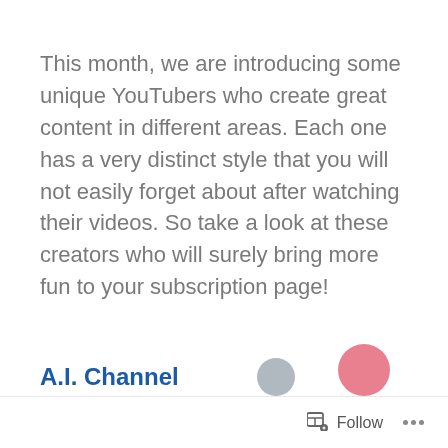This month, we are introducing some unique YouTubers who create great content in different areas. Each one has a very distinct style that you will not easily forget about after watching their videos. So take a look at these creators who will surely bring more fun to your subscription page!
A.I. Channel
[Figure (illustration): Partially visible circular avatar images at the bottom of the page — a gray circle and a pink/rose colored circle, both cropped by the page edge.]
Follow ...